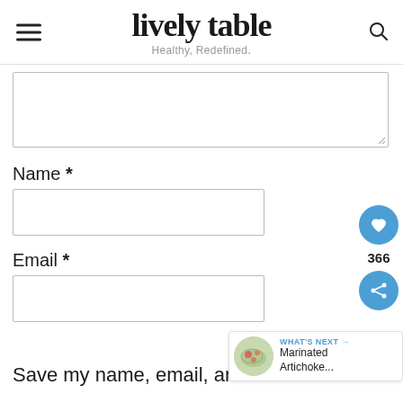lively table — Healthy, Redefined.
[Figure (screenshot): Textarea form field with resize handle in bottom-right corner]
Name *
[Figure (screenshot): Name input text field]
Email *
[Figure (screenshot): Email input text field]
[Figure (screenshot): Floating sidebar with heart icon showing 366 likes and share button; What's Next card showing Marinated Artichoke...]
Save my name, email, and website in